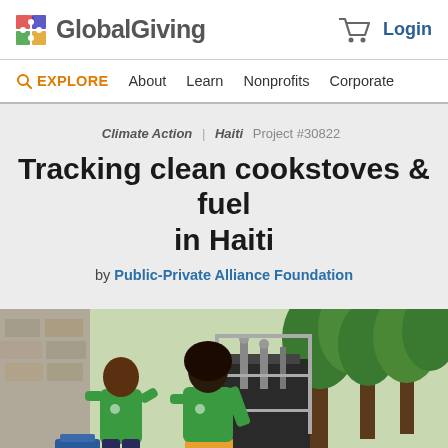GlobalGiving — Login
EXPLORE  About  Learn  Nonprofits  Corporate
Climate Action  Haiti  Project #30822
Tracking clean cookstoves & fuel in Haiti
by Public-Private Alliance Foundation
[Figure (photo): Two people in green polo shirts standing outdoors in front of industrial tanks/equipment and trees]